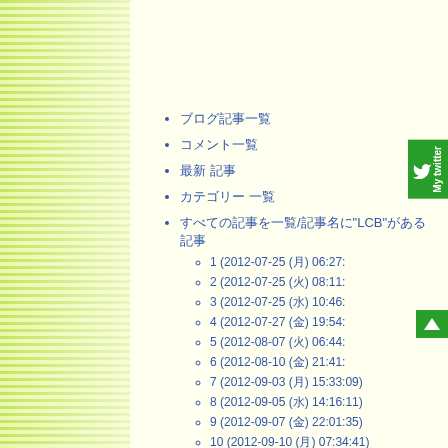[Figure (other): Left side decorative green and yellow horizontal stripes fading to cream background]
ブログ記事一覧
コメント一覧
最新 記事
カテゴリー 一覧
すべての記事を一覧/記事名に"LCB"がある 記事
1 (2012-07-25 (月) 06:27:
2 (2012-07-25 (火) 08:11:
3 (2012-07-25 (水) 10:46:
4 (2012-07-27 (金) 19:54:
5 (2012-08-07 (火) 06:44:
6 (2012-08-10 (金) 21:41:
7 (2012-09-03 (月) 15:33:09)
8 (2012-09-05 (水) 14:16:11)
9 (2012-09-07 (金) 22:01:35)
10 (2012-09-10 (月) 07:34:41)
11 (2012-09-24 (月) 07:45:57)
12 (2012-09-26 (水) 10:14:23)
13 (2012-09-27 (木) 21:40:45)
14 (2012-10-02 (火) 06:19:42)
15 (2012-10-02 (火) 10:03:23)
16 (2012-10-29 (月) 21:05:02)